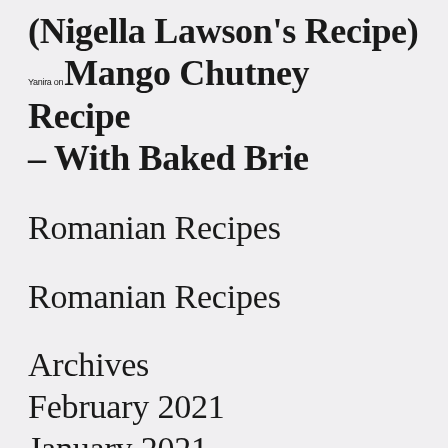(Nigella Lawson's Recipe) Yanira on Mango Chutney Recipe – With Baked Brie
Romanian Recipes
Romanian Recipes
Archives
February 2021
January 2021